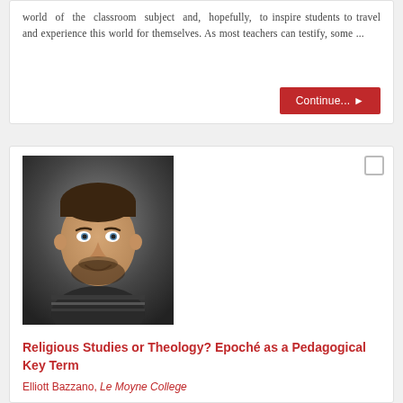world of the classroom subject and, hopefully, to inspire students to travel and experience this world for themselves. As most teachers can testify, some ...
Continue...
[Figure (photo): Headshot photo of Elliott Bazzano, a man with short dark hair and a beard, wearing a striped shirt, against a dark gradient background.]
Religious Studies or Theology? Epoché as a Pedagogical Key Term
Elliott Bazzano, Le Moyne College
Blog Series: Teaching Islam
August 23, 2017